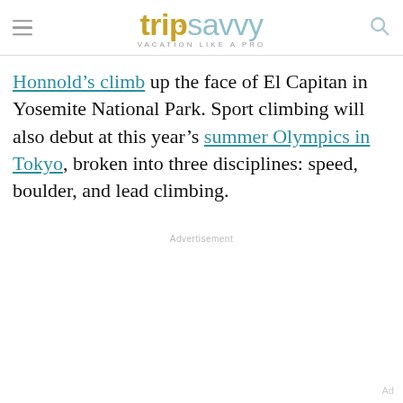tripsavvy VACATION LIKE A PRO
Honnold's climb up the face of El Capitan in Yosemite National Park. Sport climbing will also debut at this year's summer Olympics in Tokyo, broken into three disciplines: speed, boulder, and lead climbing.
Advertisement